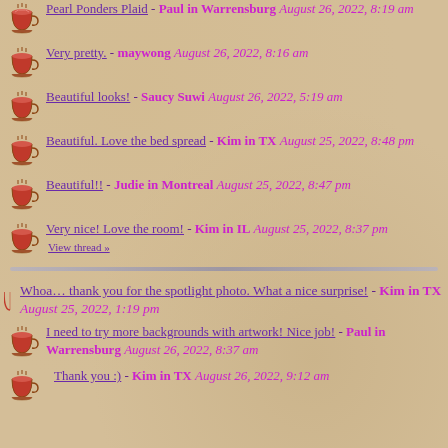Pearl Ponders Plaid - Paul in Warrensburg August 26, 2022, 8:19 am
Very pretty. - maywong August 26, 2022, 8:16 am
Beautiful looks! - Saucy Suwi August 26, 2022, 5:19 am
Beautiful. Love the bed spread - Kim in TX August 25, 2022, 8:48 pm
Beautiful!! - Judie in Montreal August 25, 2022, 8:47 pm
Very nice! Love the room! - Kim in IL August 25, 2022, 8:37 pm
View thread »
Whoa… thank you for the spotlight photo. What a nice surprise! - Kim in TX August 25, 2022, 1:19 pm
I need to try more backgrounds with artwork! Nice job! - Paul in Warrensburg August 26, 2022, 8:37 am
Thank you :) - Kim in TX August 26, 2022, 9:12 am